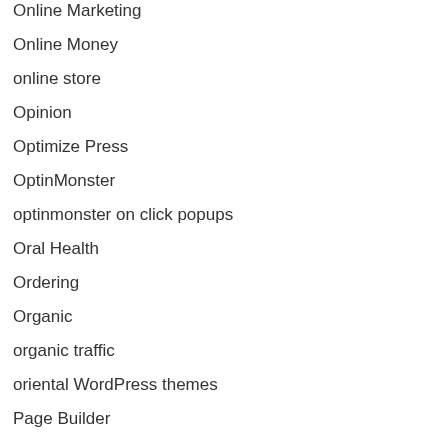Online Marketing
Online Money
online store
Opinion
Optimize Press
OptinMonster
optinmonster on click popups
Oral Health
Ordering
Organic
organic traffic
oriental WordPress themes
Page Builder